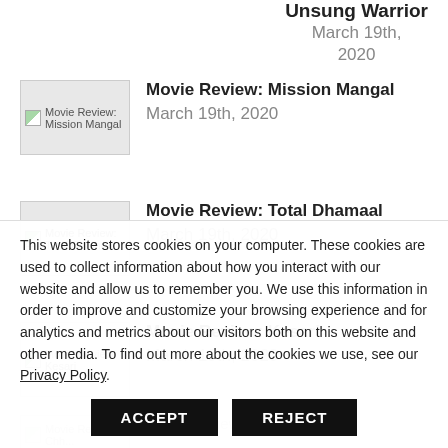Unsung Warrior
March 19th, 2020
[Figure (photo): Thumbnail image for Movie Review: Mission Mangal]
Movie Review: Mission Mangal
March 19th, 2020
[Figure (photo): Thumbnail image for Movie Review: Total Dhamaal]
Movie Review: Total Dhamaal
March 19th, 2020
[Figure (photo): Thumbnail image for Movie Review: Kesari]
Movie Review: Kesari
March 19th, 2020
[Figure (photo): Thumbnail image for partially visible article]
This website stores cookies on your computer. These cookies are used to collect information about how you interact with our website and allow us to remember you. We use this information in order to improve and customize your browsing experience and for analytics and metrics about our visitors both on this website and other media. To find out more about the cookies we use, see our Privacy Policy.
ACCEPT
REJECT